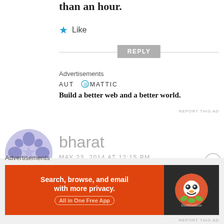than an hour.
★ Like
REPLY
Advertisements
[Figure (logo): Automattic logo with circular @ symbol]
Build a better web and a better world.
REPORT THIS AD
[Figure (illustration): Purple abstract avatar icon for user bharat]
bharat
MAY 23, 2014 AT 12:15 PM
Just fake its flipkart doesnt
Advertisements
[Figure (screenshot): DuckDuckGo advertisement banner: Search, browse, and email with more privacy. All in One Free App]
REPORT THIS AD